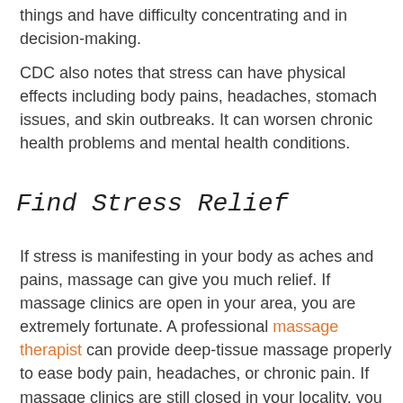things and have difficulty concentrating and in decision-making.
CDC also notes that stress can have physical effects including body pains, headaches, stomach issues, and skin outbreaks. It can worsen chronic health problems and mental health conditions.
Find Stress Relief
If stress is manifesting in your body as aches and pains, massage can give you much relief. If massage clinics are open in your area, you are extremely fortunate. A professional massage therapist can provide deep-tissue massage properly to ease body pain, headaches, or chronic pain. If massage clinics are still closed in your locality, you can try stretching exercises designed to relieve the specific body pain you are feeling. You can find exercises online for